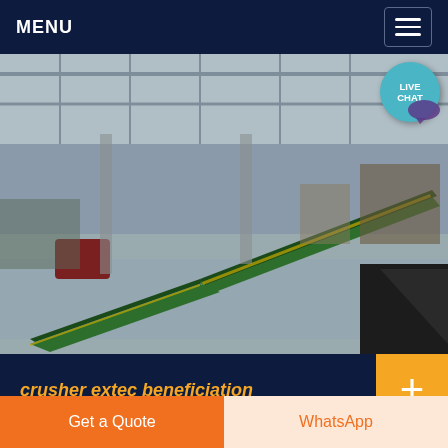MENU
[Figure (photo): Industrial factory interior showing green mining/crushing conveyor equipment with belt conveyors crossing in an X pattern on a concrete floor inside a large warehouse with overhead steel structure]
crusher extec beneficiation
Get a Quote
WhatsApp